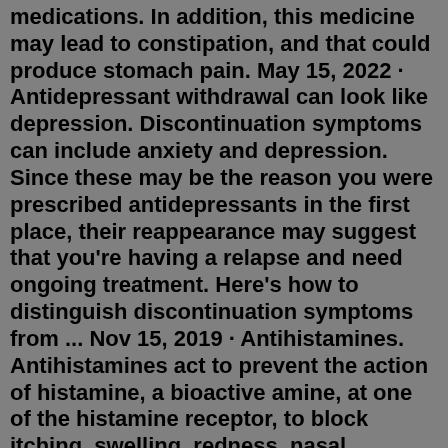medications. In addition, this medicine may lead to constipation, and that could produce stomach pain. May 15, 2022 · Antidepressant withdrawal can look like depression. Discontinuation symptoms can include anxiety and depression. Since these may be the reason you were prescribed antidepressants in the first place, their reappearance may suggest that you're having a relapse and need ongoing treatment. Here's how to distinguish discontinuation symptoms from ... Nov 15, 2019 · Antihistamines. Antihistamines act to prevent the action of histamine, a bioactive amine, at one of the histamine receptor, to block itching, swelling, redness, nasal congestion, teary eyes, cough ... Jul 31, 2019 · Antihistamine withdrawal symptoms may not be lethal but are very uncomfortable for the user and people around the user. Withdrawal symptoms such as itching, insomnia, sweating, restlessness to mention a few, may return and may be very severe. Any user at this stage needs urgent help. Talk to your doctor before you stop taking antidepressants. It's important that you do not